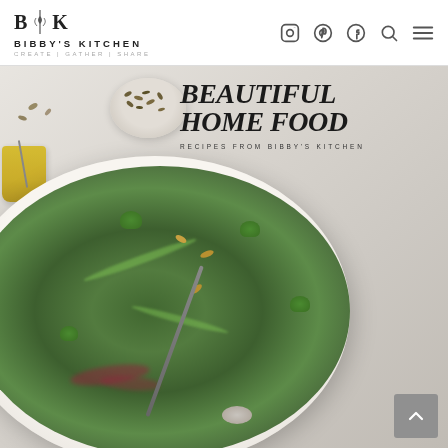BIBBY'S KITCHEN — CREATE | GATHER | SHARE
[Figure (photo): Hero image showing a large white oval platter piled with a green grain salad with broccoli, herbs, seeds and nuts. A small bowl of seeds and a glass of dressing are visible in the upper left corner. Styled on a white marble surface.]
BEAUTIFUL HOME FOOD
RECIPES FROM BIBBY'S KITCHEN